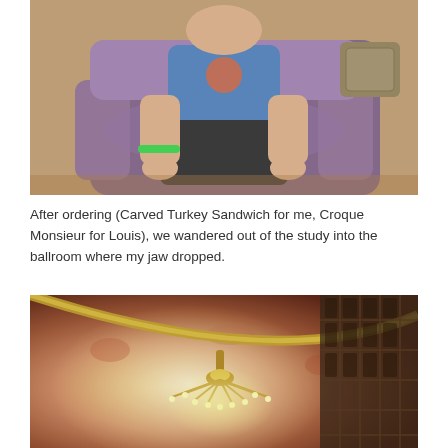[Figure (photo): A child sitting in a large purple/mauve leather armchair. The child is wearing a blue graphic t-shirt and dark pants, with a green wristband. Wooden floor visible in background.]
After ordering (Carved Turkey Sandwich for me, Croque Monsieur for Louis), we wandered out of the study into the ballroom where my jaw dropped.
[Figure (photo): Interior ballroom ceiling with ornate painted mural featuring warm amber and rose tones, a golden arched beam, coffered dark wooden ceiling panels on the right, and an elaborate gold chandelier with many lights hanging at center.]